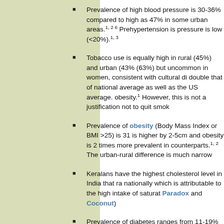Prevalence of high blood pressure is 30-36% compared to high as 47% in some urban areas.1, 2 6 Prehypertension is pressure is low (<20%).1, 3
Tobacco use is equally high in rural (45%) and urban (43% (63%) but uncommon in women, consistent with cultural di double that of national average as well as the US average. obesity.1 However, this is not a justification not to quit smok
Prevalence of obesity (Body Mass Index or BMI >25) is 31 is higher by 2-5cm and obesity is 2 times more prevalent in counterparts.1, 2 The urban-rural difference is much narrow
Keralans have the highest cholesterol level in India that ra nationally which is attributable to the high intake of saturat Paradox and Coconut)
Prevalence of diabetes ranges from 11-19% in men and 15 paradoxically higher rates of diabetes than urban dwellers. adequately controlled (see Diabetes in Kerala).
Physical inactivity is common and associated with greater p